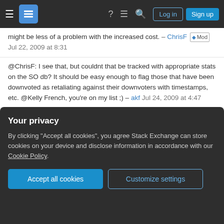Stack Exchange navigation bar with Log in and Sign up buttons
might be less of a problem with the increased cost. – ChrisF Mod Jul 22, 2009 at 8:31
@ChrisF: I see that, but couldnt that be tracked with appropriate stats on the SO db? It should be easy enough to flag those that have been downvoted as retaliating against their downvoters with timestamps, etc. @Kelly French, you're on my list ;) – akf Jul 24, 2009 at 4:47
2  if someone posts a comment like asdsadfa for downvoting, and another reader happens to come across that comment, that comment should be able to be downvoted, and the commenter should lose 20
Your privacy
By clicking "Accept all cookies", you agree Stack Exchange can store cookies on your device and disclose information in accordance with our Cookie Policy.
Accept all cookies   Customize settings
inappropriate or not is still from the   their   either would help. – Brian Moeskau Jan 28, 2010 at 14:44